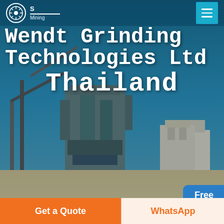[Figure (screenshot): Hero banner showing industrial mining/grinding facility with large equipment and conveyors, with teal/blue sky background]
Wendt Grinding Technologies Ltd Thailand
Home / wendt grinding technologies ltd thailand
Different Machines To Meet All
Get a Quote
WhatsApp